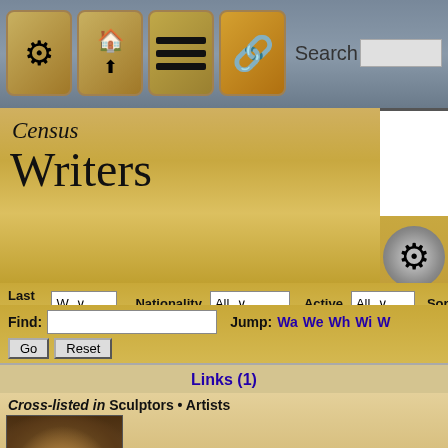[Figure (screenshot): Navigation bar with icons: ship wheel, home/up arrow, hamburger menu, share button, and search box]
Census
Writers
| Last Name | Nationality | Active | Sort |
| --- | --- | --- | --- |
| W ∨ | All ∨ | All ∨ | Name |
Find:  [input]  Jump: Wa We Wh Wi W...
Links (1)
Cross-listed in Sculptors • Artists
Patience Wright
born 1725
the first recognized American-born sculptor. She chiefly of people. She loved to write poetry and was also a painter. S George III, and sculpted him and other members of Britis nobility, but fell from royal favor...
Links (1)